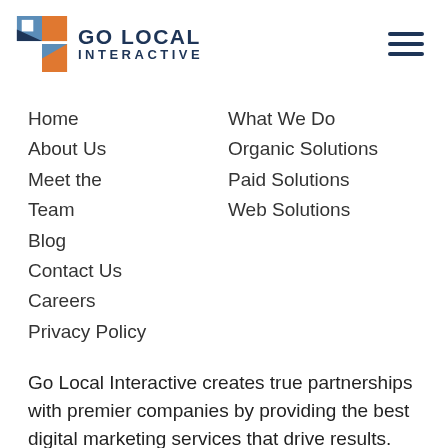[Figure (logo): Go Local Interactive logo with orange and blue geometric icon and company name text]
Home
About Us
Meet the Team
Blog
Contact Us
Careers
Privacy Policy
What We Do
Organic Solutions
Paid Solutions
Web Solutions
Go Local Interactive creates true partnerships with premier companies by providing the best digital marketing services that drive results. We’re experts in effectively implementing and tracking our